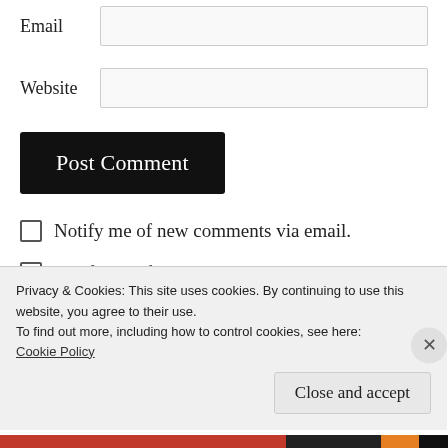Email
Website
Post Comment
Notify me of new comments via email.
Notify me of new posts via email.
Privacy & Cookies: This site uses cookies. By continuing to use this website, you agree to their use. To find out more, including how to control cookies, see here: Cookie Policy
Close and accept